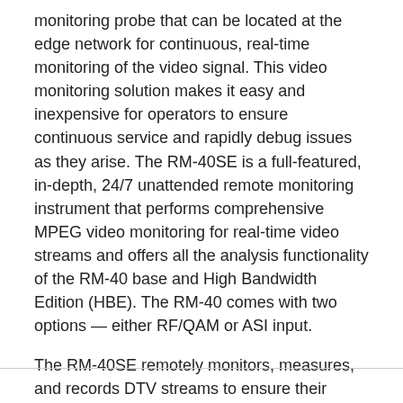monitoring probe that can be located at the edge network for continuous, real-time monitoring of the video signal. This video monitoring solution makes it easy and inexpensive for operators to ensure continuous service and rapidly debug issues as they arise. The RM-40SE is a full-featured, in-depth, 24/7 unattended remote monitoring instrument that performs comprehensive MPEG video monitoring for real-time video streams and offers all the analysis functionality of the RM-40 base and High Bandwidth Edition (HBE). The RM-40 comes with two options — either RF/QAM or ASI input.
The RM-40SE remotely monitors, measures, and records DTV streams to ensure their integrity, reliability, and compliance with standards. The optional Remote Troubleshooting Module (RTm)